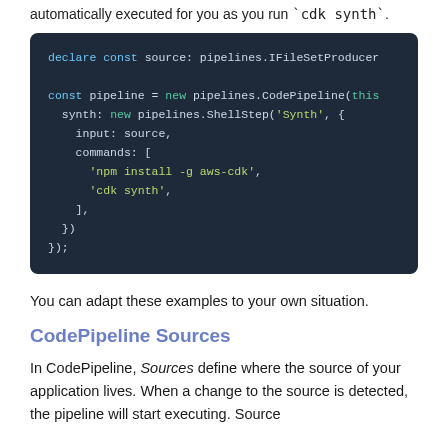automatically executed for you as you run `cdk synth`.
declare const source: pipelines.IFileSetProducer

const pipeline = new pipelines.CodePipeline(this
  synth: new pipelines.ShellStep('Synth', {
    input: source,
    commands: [
      'npm install -g aws-cdk',
      'cdk synth',
    ],
  })
});
You can adapt these examples to your own situation.
CodePipeline Sources
In CodePipeline, Sources define where the source of your application lives. When a change to the source is detected, the pipeline will start executing. Source